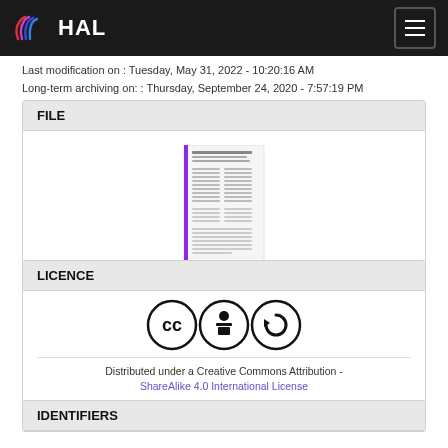HAL
Last modification on : Tuesday, May 31, 2022 - 10:20:16 AM
Long-term archiving on: : Thursday, September 24, 2020 - 7:57:19 PM
FILE
[Figure (other): Thumbnail preview of a document page]
2004_Lecuit_Proceedings of the...
Publisher files allowed on an open archive
LICENCE
[Figure (other): Creative Commons Attribution-ShareAlike license icons: CC, BY, SA]
Distributed under a Creative Commons Attribution - ShareAlike 4.0 International License
IDENTIFIERS